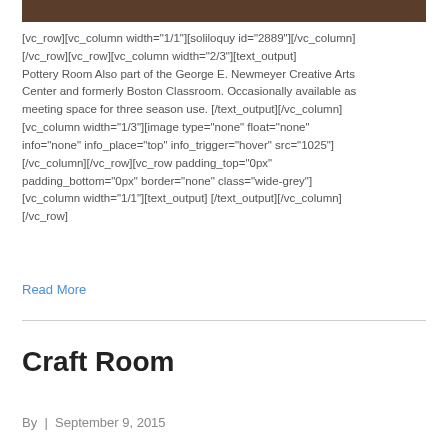[Figure (photo): Top portion of a dark brown wood-grain image, cropped at the top of the page]
[vc_row][vc_column width="1/1"][soliloquy id="2889"][/vc_column][/vc_row][vc_row][vc_column width="2/3"][text_output]
Pottery Room Also part of the George E. Newmeyer Creative Arts Center and formerly Boston Classroom. Occasionally available as meeting space for three season use. [/text_output][/vc_column][vc_column width="1/3"][image type="none" float="none" info="none" info_place="top" info_trigger="hover" src="1025"][/vc_column][/vc_row][vc_row padding_top="0px" padding_bottom="0px" border="none" class="wide-grey"][vc_column width="1/1"][text_output] [/text_output][/vc_column][/vc_row]
Read More
Craft Room
By  |  September 9, 2015